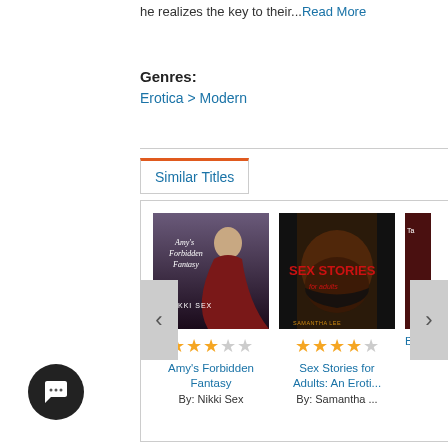he realizes the key to their...Read More
Genres:
Erotica > Modern
Similar Titles
[Figure (illustration): Book cover for Amy's Forbidden Fantasy by Nikki Sex]
[Figure (illustration): Book cover for Sex Stories for Adults by Samantha Lee]
Amy's Forbidden Fantasy
By: Nikki Sex
Sex Stories for Adults: An Eroti...
By: Samantha ...